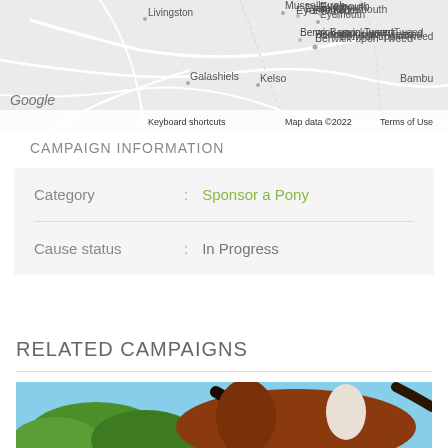[Figure (map): Google Maps screenshot showing part of Scotland/northern England with labels: Livingston, Musselburgh, Eyemouth, Berwick-upon-Tweed, Galashiels, Kelso, Bambu, Google watermark, Keyboard shortcuts, Map data ©2022, Terms of Use]
CAMPAIGN INFORMATION
| Category | Sponsor a Pony |
| Cause status | In Progress |
RELATED CAMPAIGNS
[Figure (photo): Photo of a horse (brown and white) with green trees and blue sky in background]